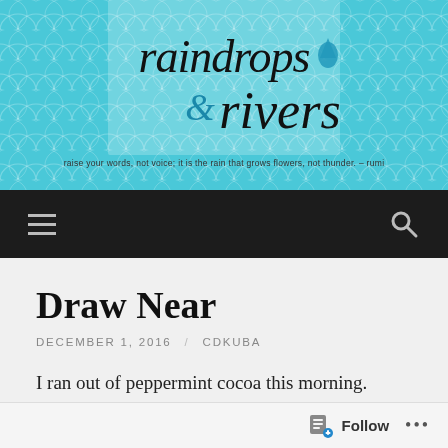[Figure (logo): Raindrops & Rivers blog header logo on teal/cyan scale-pattern background. Script text reads 'raindrops & rivers' with a water droplet graphic. Tagline below reads: raise your words, not voice; it is the rain that grows flowers, not thunder. - rumi]
Navigation bar with hamburger menu icon and search icon on black background
Draw Near
DECEMBER 1, 2016 / CDKUBA
I ran out of peppermint cocoa this morning. Just like that. Not a single ounce to add to my morning coffee, nor console me that the fifth day of Pacific
Follow ...